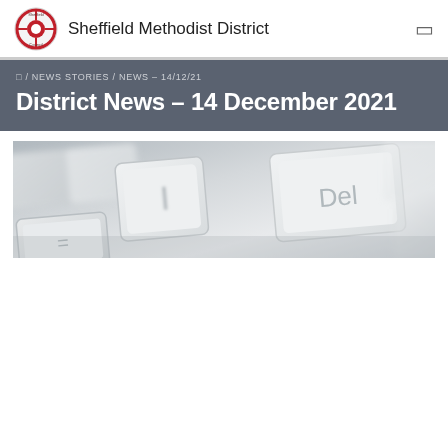Sheffield Methodist District
🏠 / NEWS STORIES / NEWS – 14/12/21
District News – 14 December 2021
[Figure (photo): Close-up photograph of white computer keyboard keys including 'l', 'Del', and '=' keys, soft focus, light grey tones]